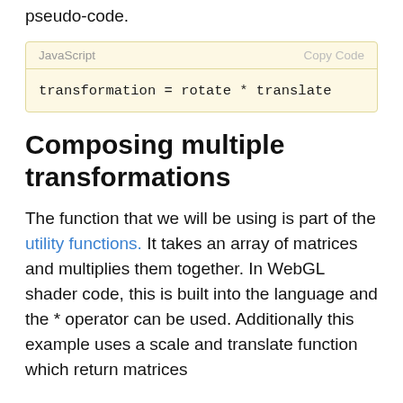look something like the following in pseudo-code.
[Figure (screenshot): Code block with yellow background showing 'JavaScript' label and 'Copy Code' button, containing monospace code: transformation = rotate * translate]
Composing multiple transformations
The function that we will be using is part of the utility functions. It takes an array of matrices and multiplies them together. In WebGL shader code, this is built into the language and the * operator can be used. Additionally this example uses a scale and translate function which return matrices